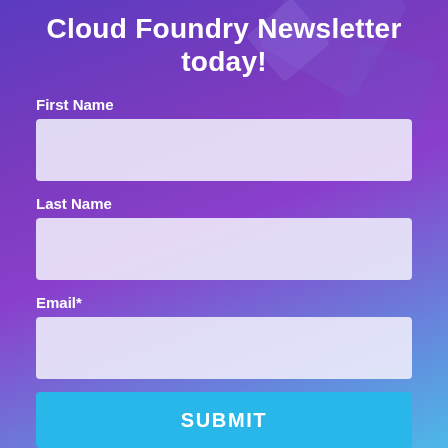Cloud Foundry Newsletter today!
First Name
Last Name
Email*
SUBMIT